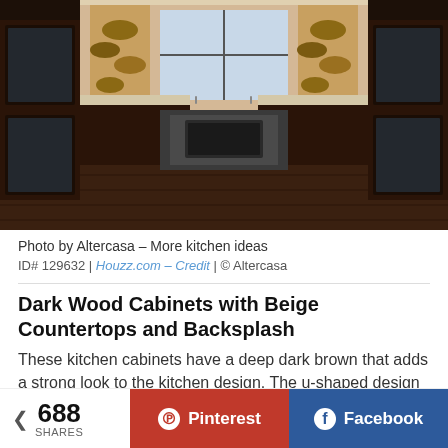[Figure (photo): Interior photo of a luxury U-shaped kitchen with dark wood cabinets, beige countertops, stacked firewood accent walls, and stainless steel appliances.]
Photo by Altercasa – More kitchen ideas
ID# 129632 | Houzz.com – Credit | © Altercasa
Dark Wood Cabinets with Beige Countertops and Backsplash
These kitchen cabinets have a deep dark brown that adds a strong look to the kitchen design. The u-shaped design of the kitchen cabinets…
688 SHARES  Pinterest  Facebook